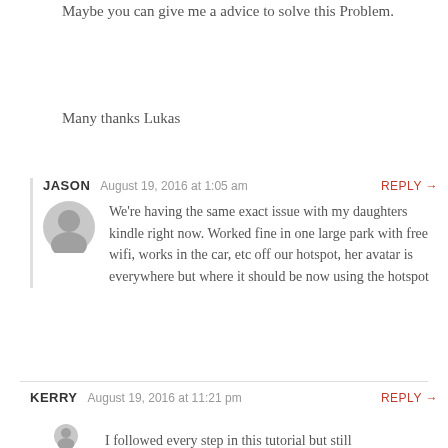Maybe you can give me a advice to solve this Problem.
Many thanks Lukas
JASON   August 19, 2016 at 1:05 am    REPLY →
We're having the same exact issue with my daughters kindle right now. Worked fine in one large park with free wifi, works in the car, etc off our hotspot, her avatar is everywhere but where it should be now using the hotspot
KERRY   August 19, 2016 at 11:21 pm    REPLY →
I followed every step in this tutorial but still